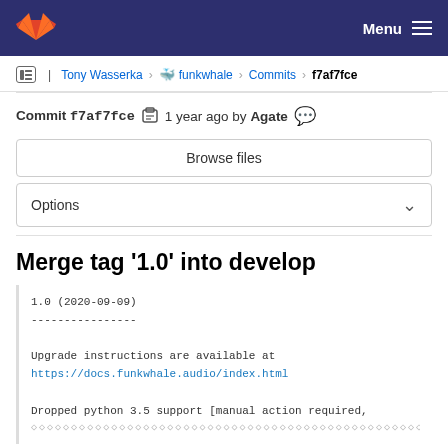GitLab — Menu
Tony Wasserka > funkwhale > Commits > f7af7fce
Commit f7af7fce  1 year ago by Agate
Browse files
Options
Merge tag '1.0' into develop
1.0 (2020-09-09)
----------------

Upgrade instructions are available at
https://docs.funkwhale.audio/index.html

Dropped python 3.5 support [manual action required,